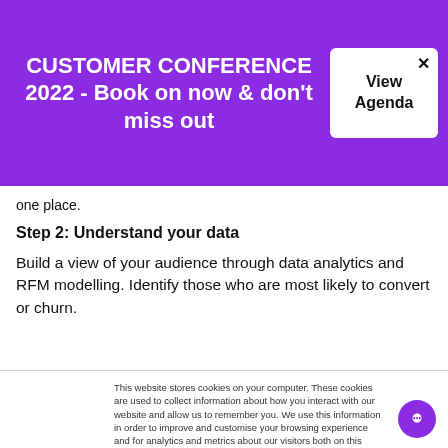CUSTOMER CONFERENCE 2022 - Book on now & don't miss out
one place.
Step 2: Understand your data
Build a view of your audience through data analytics and RFM modelling. Identify those who are most likely to convert or churn.
This website stores cookies on your computer. These cookies are used to collect information about how you interact with our website and allow us to remember you. We use this information in order to improve and customise your browsing experience and for analytics and metrics about our visitors both on this website and other media. To find out more about the cookies we use, see our Privacy Policy.